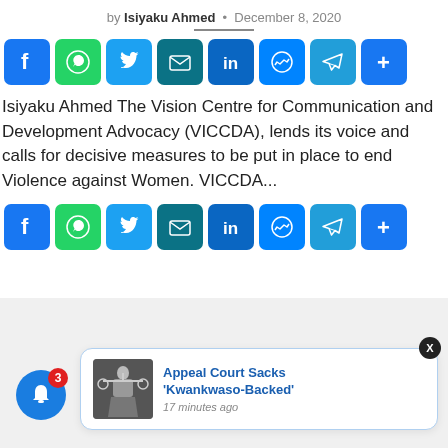by Isiyaku Ahmed • December 8, 2020
[Figure (other): Social share buttons bar (Facebook, WhatsApp, Twitter, Email, LinkedIn, Messenger, Telegram, More)]
Isiyaku Ahmed The Vision Centre for Communication and Development Advocacy (VICCDA), lends its voice and calls for decisive measures to be put in place to end Violence against Women. VICCDA...
[Figure (other): Social share buttons bar (Facebook, WhatsApp, Twitter, Email, LinkedIn, Messenger, Telegram, More)]
[Figure (other): Notification popup: Appeal Court Sacks 'Kwankwaso-Backed' — 17 minutes ago, with thumbnail image and close button X]